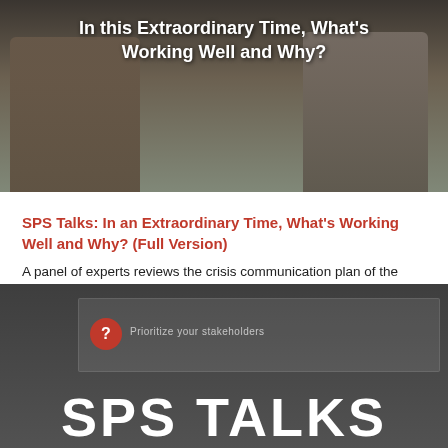[Figure (screenshot): Video thumbnail showing two people in a video call. White bold text overlay reads 'In this Extraordinary Time, What's Working Well and Why?']
SPS Talks: In an Extraordinary Time, What's Working Well and Why? (Full Version)
A panel of experts reviews the crisis communication plan of the School for Professional Studies (SPS) — what worked [...]
Faculty and Staff, People, Tips and Info, Topics, Webinars
2153 views
[Figure (screenshot): Video thumbnail with dark gray background showing 'SPS TALKS' in large white bold text, with a red circle icon and faint text 'Prioritize your stakeholders' on a slide behind it.]